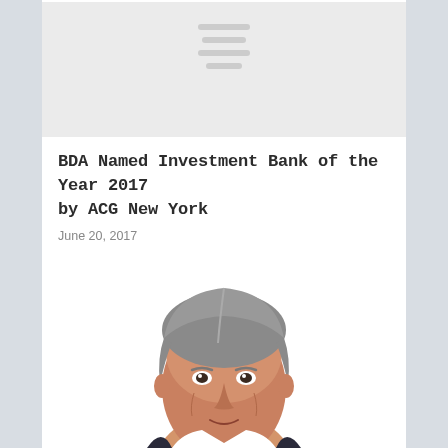[Figure (screenshot): Navigation bar placeholder with hamburger menu lines on light gray background]
BDA Named Investment Bank of the Year 2017 by ACG New York
June 20, 2017
[Figure (photo): Close-up portrait photo of a middle-aged man with gray hair, looking forward, white background]